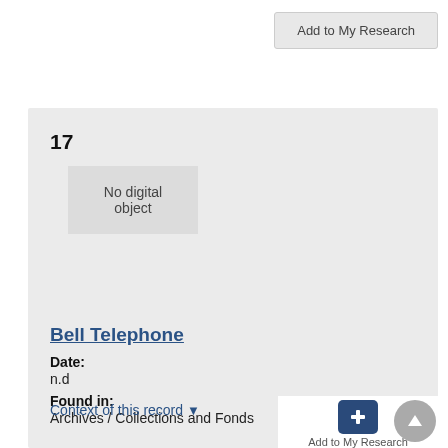Add to My Research
17
No digital object
Bell Telephone
Date:
n.d
Found in:
Archives / Collections and Fonds
Context of this record
Add to My Research